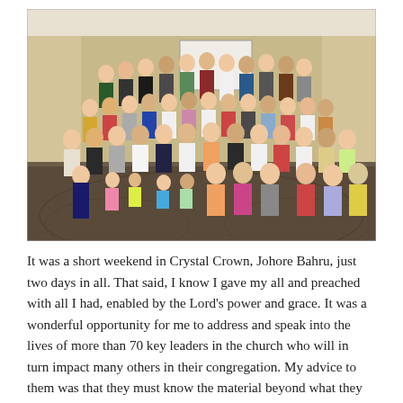[Figure (photo): Large group photo of approximately 70+ people, including men, women, and children, posed together in a hotel conference room or banquet hall. The group appears to be a church congregation from Johore Bahru, Malaysia.]
It was a short weekend in Crystal Crown, Johore Bahru, just two days in all. That said, I know I gave my all and preached with all I had, enabled by the Lord's power and grace. It was a wonderful opportunity for me to address and speak into the lives of more than 70 key leaders in the church who will in turn impact many others in their congregation. My advice to them was that they must know the material beyond what they have heard from me, however stirred or convicted they might have been. To simply return and share the messages with their